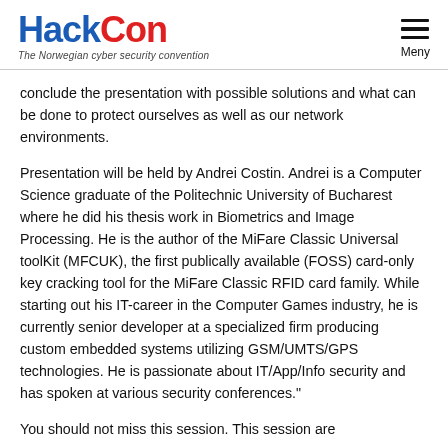HackCon – The Norwegian cyber security convention
conclude the presentation with possible solutions and what can be done to protect ourselves as well as our network environments.
Presentation will be held by Andrei Costin. Andrei is a Computer Science graduate of the Politechnic University of Bucharest where he did his thesis work in Biometrics and Image Processing. He is the author of the MiFare Classic Universal toolKit (MFCUK), the first publically available (FOSS) card-only key cracking tool for the MiFare Classic RFID card family. While starting out his IT-career in the Computer Games industry, he is currently senior developer at a specialized firm producing custom embedded systems utilizing GSM/UMTS/GPS technologies. He is passionate about IT/App/Info security and has spoken at various security conferences."
You should not miss this session. This session are